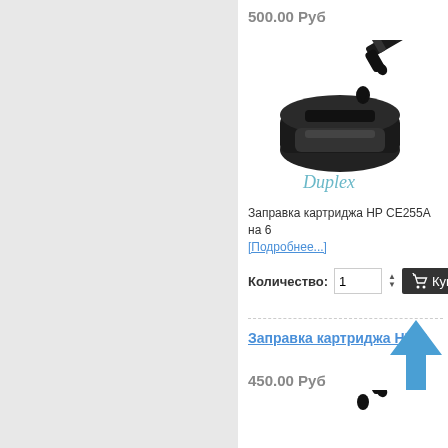500.00 Руб
[Figure (illustration): Toner cartridge refill service image with Duplex brand logo — shows a black toner cartridge, a fuel nozzle with ink drop, and cursive Duplex text]
Заправка картриджа HP CE255A на 6... [Подробнее...]
Количество: 1  Купить
Заправка картриджа HP С...
450.00 Руб
[Figure (illustration): Bottom toner cartridge refill image, partially visible]
[Figure (illustration): Blue upward arrow overlay indicating scroll or navigation]